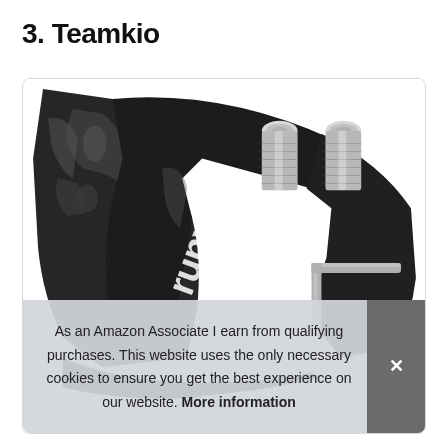3. Teamkio
[Figure (photo): Product photo of a black bicycle water bottle cage (Teamkio brand) with white lettering, alongside two silver screws and a hex/Allen key wrench, displayed on a white background inside a rounded-corner box.]
As an Amazon Associate I earn from qualifying purchases. This website uses the only necessary cookies to ensure you get the best experience on our website. More information